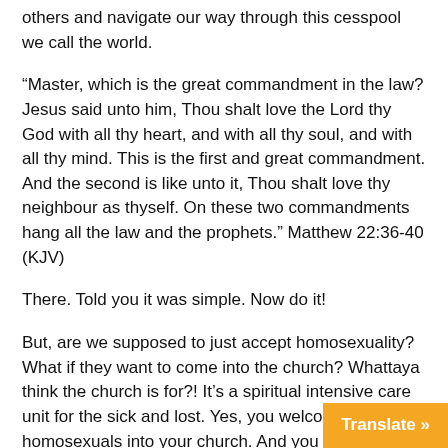others and navigate our way through this cesspool we call the world.
“Master, which is the great commandment in the law? Jesus said unto him, Thou shalt love the Lord thy God with all thy heart, and with all thy soul, and with all thy mind. This is the first and great commandment. And the second is like unto it, Thou shalt love thy neighbour as thyself. On these two commandments hang all the law and the prophets.” Matthew 22:36-40 (KJV)
There. Told you it was simple. Now do it!
But, are we supposed to just accept homosexuality? What if they want to come into the church? Whattaya think the church is for?! It’s a spiritual intensive care unit for the sick and lost. Yes, you welcome homosexuals into your church. And you love them and lead them to Jesus, explaining Christ’s salvation as well as the consequences for refusing that gift.